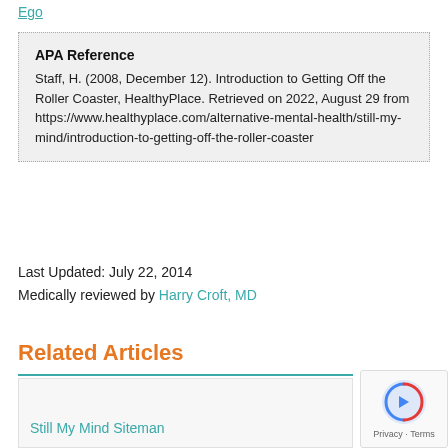Ego
APA Reference
Staff, H. (2008, December 12). Introduction to Getting Off the Roller Coaster, HealthyPlace. Retrieved on 2022, August 29 from https://www.healthyplace.com/alternative-mental-health/still-my-mind/introduction-to-getting-off-the-roller-coaster
Last Updated: July 22, 2014
Medically reviewed by Harry Croft, MD
Related Articles
Still My Mind Siteman